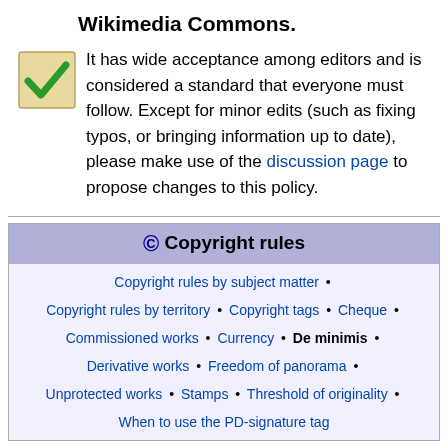Wikimedia Commons.
It has wide acceptance among editors and is considered a standard that everyone must follow. Except for minor edits (such as fixing typos, or bringing information up to date), please make use of the discussion page to propose changes to this policy.
| Copyright rules |
| --- |
| Copyright rules by subject matter • |
| Copyright rules by territory • Copyright tags • Cheque • |
| Commissioned works • Currency • De minimis • |
| Derivative works • Freedom of panorama • |
| Unprotected works • Stamps • Threshold of originality • |
| When to use the PD-signature tag |